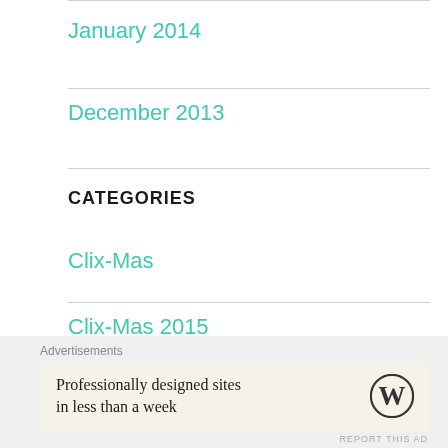January 2014
December 2013
CATEGORIES
Clix-Mas
Clix-Mas 2015
Clix-Mas 2016
Advertisements
Professionally designed sites in less than a week